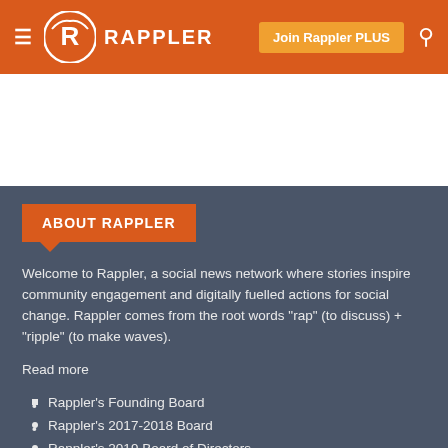RAPPLER — Join Rappler PLUS
ABOUT RAPPLER
Welcome to Rappler, a social news network where stories inspire community engagement and digitally fuelled actions for social change. Rappler comes from the root words "rap" (to discuss) + "ripple" (to make waves).
Read more
Rappler's Founding Board
Rappler's 2017-2018 Board
Rappler's 2019 Board of Directors